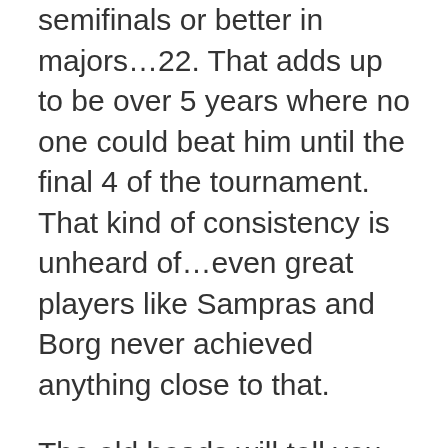semifinals or better in majors…22. That adds up to be over 5 years where no one could beat him until the final 4 of the tournament. That kind of consistency is unheard of…even great players like Sampras and Borg never achieved anything close to that.
The old heads will tell you that Rod Laver was better than Fed, but there is no denying his greatness. I feel so fortunate that I have been able to watch his career unfold.
Some may tell you it's his world class